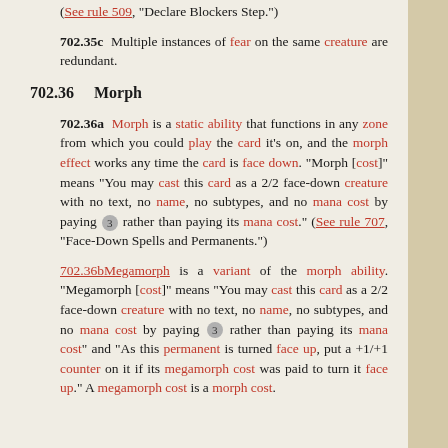(See rule 509, "Declare Blockers Step.")
702.35c  Multiple instances of fear on the same creature are redundant.
702.36    Morph
702.36a  Morph is a static ability that functions in any zone from which you could play the card it's on, and the morph effect works any time the card is face down. "Morph [cost]" means "You may cast this card as a 2/2 face-down creature with no text, no name, no subtypes, and no mana cost by paying 3 rather than paying its mana cost." (See rule 707, "Face-Down Spells and Permanents.")
702.36b Megamorph is a variant of the morph ability. "Megamorph [cost]" means "You may cast this card as a 2/2 face-down creature with no text, no name, no subtypes, and no mana cost by paying 3 rather than paying its mana cost" and "As this permanent is turned face up, put a +1/+1 counter on it if its megamorph cost was paid to turn it face up." A megamorph cost is a morph cost.